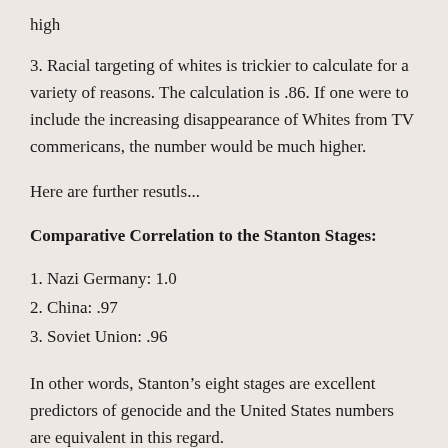high
3. Racial targeting of whites is trickier to calculate for a variety of reasons. The calculation is .86. If one were to include the increasing disappearance of Whites from TV commericans, the number would be much higher.
Here are further resutls...
Comparative Correlation to the Stanton Stages:
1. Nazi Germany: 1.0
2. China: .97
3. Soviet Union: .96
In other words, Stanton’s eight stages are excellent predictors of genocide and the United States numbers are equivalent in this regard.